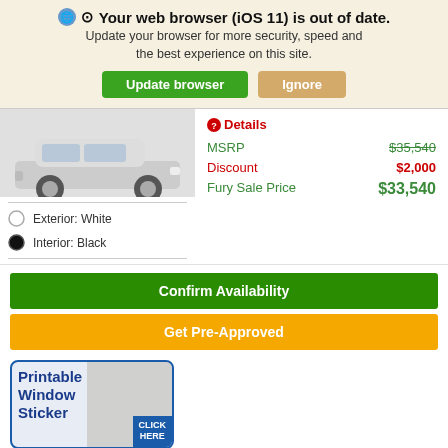Your web browser (iOS 11) is out of date. Update your browser for more security, speed and the best experience on this site.
[Figure (screenshot): Browser update warning banner with Update browser and Ignore buttons]
[Figure (photo): White Jeep compact SUV vehicle photo]
Exterior: White
Interior: Black
Details
|  |  |
| --- | --- |
| MSRP | $35,540 |
| Discount | $2,000 |
| Fury Sale Price | $33,540 |
Confirm Availability
Get Pre-Approved
[Figure (other): Printable Window Sticker button with CLICK HERE label]